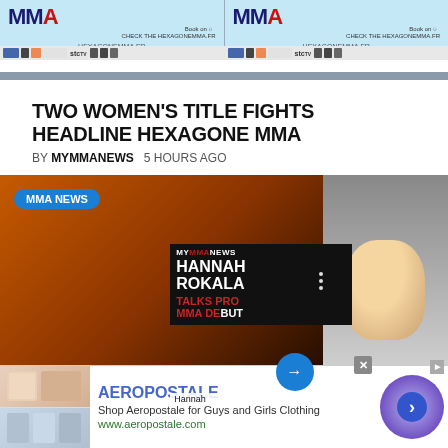[Figure (screenshot): Hexagone MMA banner advertisement shown twice side by side]
TWO WOMEN'S TITLE FIGHTS HEADLINE HEXAGONE MMA
BY MYMMANEWS   5 HOURS AGO
[Figure (screenshot): MMA news video carousel showing fighters with fire background, MMA NEWS badge, overlay card with HANNAH ROKALA TALKS PRO MMA DEBUT, and a woman in a car on the right side with navigation arrow]
[Figure (screenshot): Aeropostale advertisement banner with shop images, brand name, description 'Shop Aeropostale for Guys and Girls Clothing', URL www.aeropostale.com, and circular navigation button]